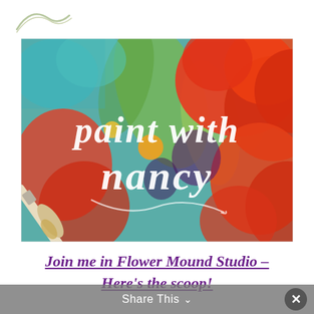[Figure (illustration): Colorful floral painting background with a paintbrush at bottom left and script text reading 'paint with nancy' in white cursive lettering over vibrant red, teal, green, and orange flower brushstrokes.]
Join me in Flower Mound Studio – Here's the scoop!
Share This